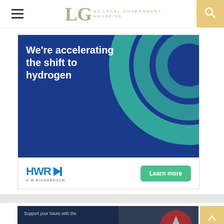LG NZ LOCAL GOVERNMENT MAGAZINE
[Figure (illustration): HWR (H.W. Richardson) advertisement banner. Dark blue background with concentric teal circles on the right. White bold text reads: We're accelerating the shift to hydrogen. Bottom section white background with HWR logo in blue and a teal Learn more button.]
[Figure (illustration): IPWEA advertisement banner. Dark navy background with partial aerial photo on right side showing red circular logo. White text: Support your future with the IPWEA]